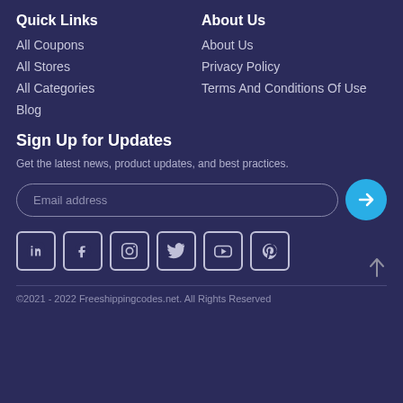Quick Links
About Us
All Coupons
About Us
All Stores
Privacy Policy
All Categories
Terms And Conditions Of Use
Blog
Sign Up for Updates
Get the latest news, product updates, and best practices.
[Figure (infographic): Email address input field with submit arrow button and social media icons: LinkedIn, Facebook, Instagram, Twitter, YouTube, Pinterest]
©2021 - 2022 Freeshippingcodes.net. All Rights Reserved